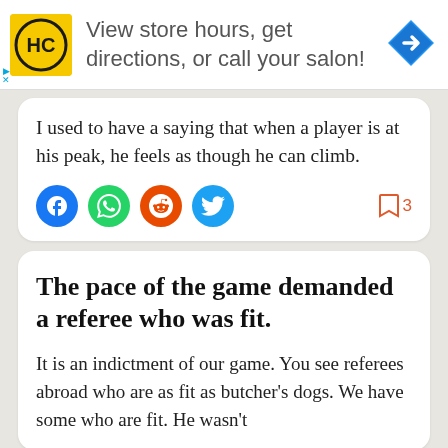[Figure (screenshot): Advertisement banner for a hair salon: yellow logo with 'HC' text, text reading 'View store hours, get directions, or call your salon!', blue diamond arrow icon on right, small play/X controls on left.]
I used to have a saying that when a player is at his peak, he feels as though he can climb.
[Figure (infographic): Social sharing buttons row: Facebook (blue circle), WhatsApp (green circle), Reddit (orange circle), Twitter (blue circle). Bookmark icon with count '3' on right.]
The pace of the game demanded a referee who was fit.
It is an indictment of our game. You see referees abroad who are as fit as butcher's dogs. We have some who are fit. He wasn't